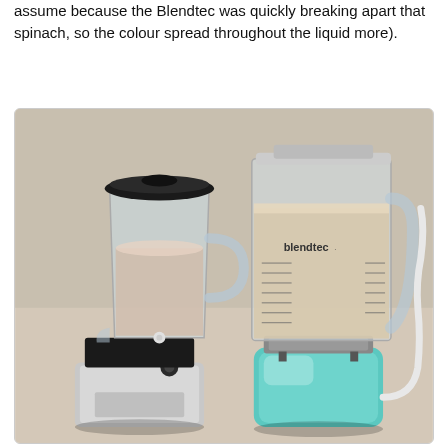assume because the Blendtec was quickly breaking apart that spinach, so the colour spread throughout the liquid more).
[Figure (photo): Two blenders side by side on a countertop. On the left is a standard household blender with a black lid and silver/white base containing a beige/pinkish liquid. On the right is a Blendtec blender with a teal/turquoise base and a square clear pitcher filled with a creamy beige liquid. A white power cord is visible on the right side.]